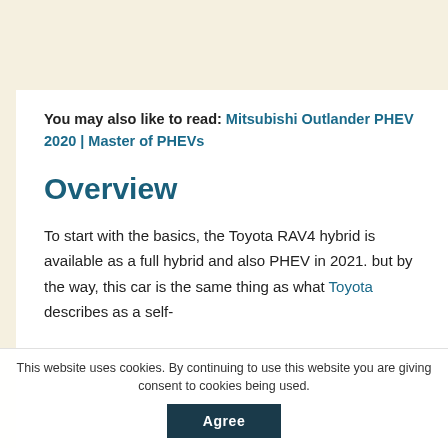You may also like to read: Mitsubishi Outlander PHEV 2020 | Master of PHEVs
Overview
To start with the basics, the Toyota RAV4 hybrid is available as a full hybrid and also PHEV in 2021. but by the way, this car is the same thing as what Toyota describes as a self-
This website uses cookies. By continuing to use this website you are giving consent to cookies being used. Agree